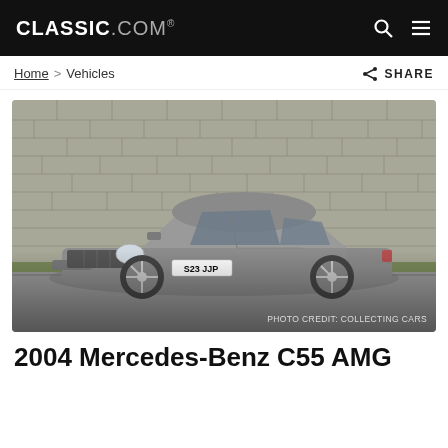CLASSIC.COM
Home > Vehicles   SHARE
[Figure (photo): Silver 2004 Mercedes-Benz C55 AMG sedan parked in front of a stone wall, UK plate S23 JJP. Photo credit: COLLECTING CARS.]
2004 Mercedes-Benz C55 AMG